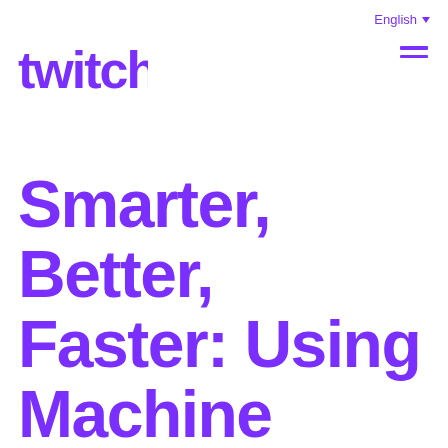English ▼
[Figure (logo): Twitch logo in purple, blocky pixel-style lettering]
Smarter, Better, Faster: Using Machine Learning to Review Emotes